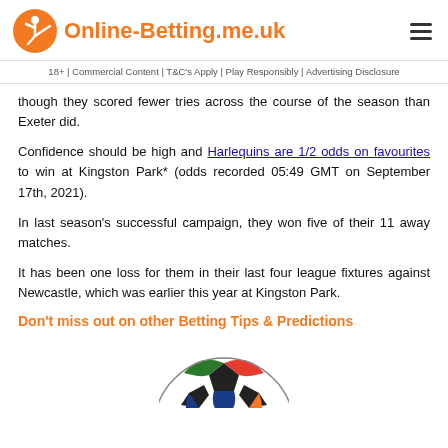Online-Betting.me.uk
18+ | Commercial Content | T&C's Apply | Play Responsibly | Advertising Disclosure
though they scored fewer tries across the course of the season than Exeter did.
Confidence should be high and Harlequins are 1/2 odds on favourites to win at Kingston Park* (odds recorded 05:49 GMT on September 17th, 2021).
In last season's successful campaign, they won five of their 11 away matches.
It has been one loss for them in their last four league fixtures against Newcastle, which was earlier this year at Kingston Park.
Don't miss out on other Betting Tips & Predictions
[Figure (photo): A soccer/football ball partially visible at the bottom of the page]